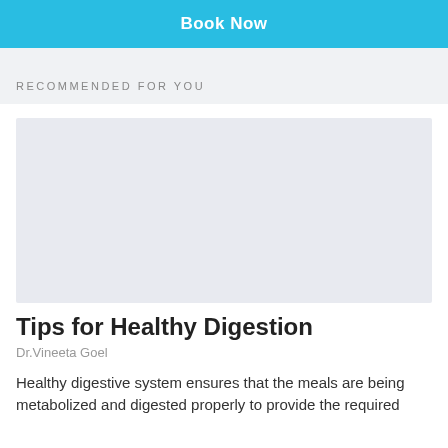[Figure (other): Book Now button — cyan/sky-blue background with white bold text]
RECOMMENDED FOR YOU
[Figure (photo): Placeholder image area with light gray/blue background for article thumbnail]
Tips for Healthy Digestion
Dr.Vineeta Goel
Healthy digestive system ensures that the meals are being metabolized and digested properly to provide the required